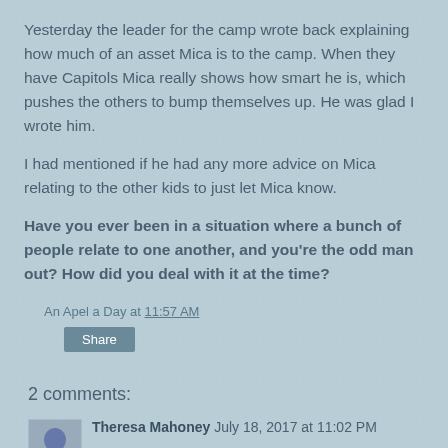Yesterday the leader for the camp wrote back explaining how much of an asset Mica is to the camp. When they have Capitols Mica really shows how smart he is, which pushes the others to bump themselves up. He was glad I wrote him.
I had mentioned if he had any more advice on Mica relating to the other kids to just let Mica know.
Have you ever been in a situation where a bunch of people relate to one another, and you're the odd man out? How did you deal with it at the time?
An Apel a Day at 11:57 AM
Share
2 comments:
Theresa Mahoney July 18, 2017 at 11:02 PM